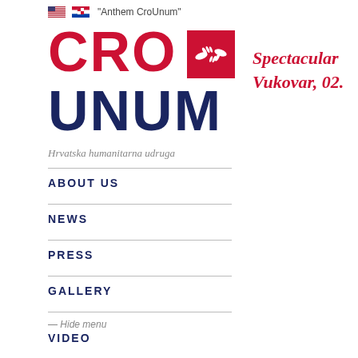[Figure (logo): US flag and Croatian flag icons with 'Anthem CroUnum' text link]
CRO UNUM
[Figure (logo): CroUnum logo red square with white hands icon]
Hrvatska humanitarna udruga
ABOUT US
NEWS
PRESS
GALLERY
— Hide menu
VIDEO
Spectacular Vukovar, 02.
[Figure (photo): Outdoor photo of people walking near a large monument/sculpture, sunny day]